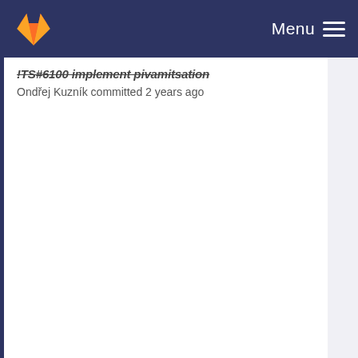GitLab — Menu
!TS#6100 implement pivamitsation
Ondřej Kuzník committed 2 years ago